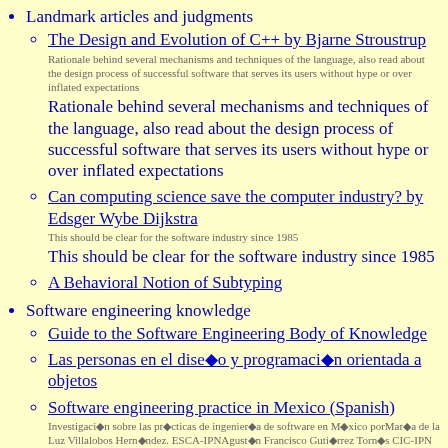Landmark articles and judgments
The Design and Evolution of C++ by Bjarne Stroustrup
Rationale behind several mechanisms and techniques of the language, also read about the design process of successful software that serves its users without hype or over inflated expectations
Rationale behind several mechanisms and techniques of the language, also read about the design process of successful software that serves its users without hype or over inflated expectations
Can computing science save the computer industry? by Edsger Wybe Dijkstra
This should be clear for the software industry since 1985
This should be clear for the software industry since 1985
A Behavioral Notion of Subtyping
Software engineering knowledge
Guide to the Software Engineering Body of Knowledge
Las personas en el dise�o y programaci�n orientada a objetos
Software engineering practice in Mexico (Spanish)
Investigaci�n sobre las pr�cticas de ingenier�a de software en M�xico por Mar�a de la Luz Villalobos Hern�ndez. ESCA-IPN Agust�n Francisco Guti�rrez Torn�s CIC-IPN
Investigaci�n sobre las pr�cticas de ingenier�a